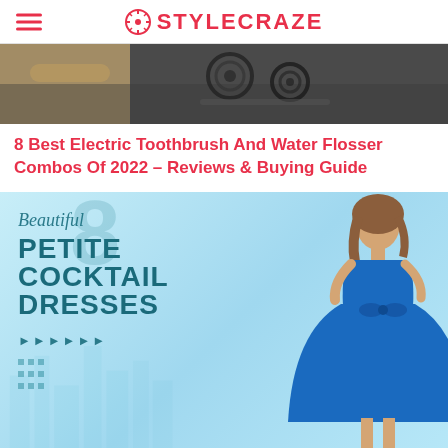STYLECRAZE
[Figure (photo): Close-up photo of electric toothbrush and water flosser components on a wooden surface]
8 Best Electric Toothbrush And Water Flosser Combos Of 2022 – Reviews & Buying Guide
[Figure (infographic): Promotional infographic with text reading '8 Beautiful PETITE COCKTAIL DRESSES' with a woman wearing a blue cocktail dress against a light blue city background]